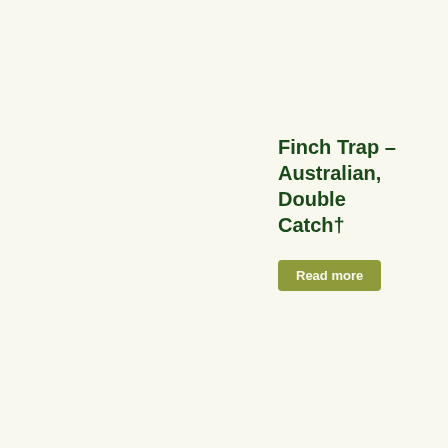Finch Trap – Australian, Double Catch†
Read more